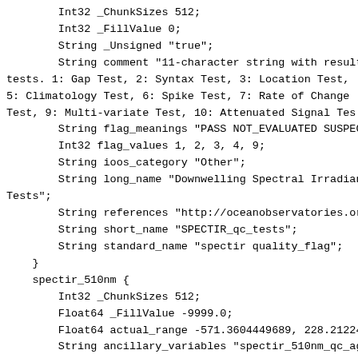Int32 _ChunkSizes 512;
    Int32 _FillValue 0;
    String _Unsigned "true";
    String comment "11-character string with results o
tests. 1: Gap Test, 2: Syntax Test, 3: Location Test,
5: Climatology Test, 6: Spike Test, 7: Rate of Change
Test, 9: Multi-variate Test, 10: Attenuated Signal Tes
    String flag_meanings "PASS NOT_EVALUATED SUSPECT F
    Int32 flag_values 1, 2, 3, 4, 9;
    String ioos_category "Other";
    String long_name "Downwelling Spectral Irradiance
Tests";
    String references "http://oceanobservatories.org/q
    String short_name "SPECTIR_qc_tests";
    String standard_name "spectir quality_flag";
  }
  spectir_510nm {
    Int32 _ChunkSizes 512;
    Float64 _FillValue -9999.0;
    Float64 actual_range -571.3604449689, 228.21224038
    String ancillary_variables "spectir_510nm_qc_agg
spectir_510nm_qc_tests";
    String discrimant "510nm";
    String discriminant "510nm";
    String id "1022349";
    String ioos_category "Other";